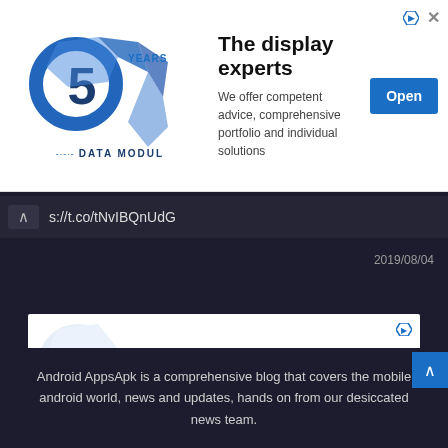[Figure (other): Data Modul 50 Years logo with blue geometric shapes]
The display experts
We offer competent advice, comprehensive portfolio and individual solutions
s://t.co/tNvIBQnUdG
2019/08/04
[Figure (other): Second Data Modul advertisement banner - The display experts with Open button]
Android AppsApk is a comprehensive blog that covers the mobile android world, news and updates, hands on from our desiccated news team.